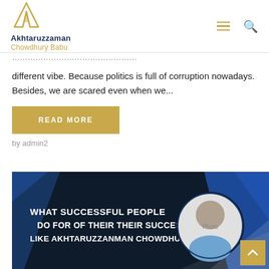Akhtaruzzaman Chowdhury Babu
different vibe. Because politics is full of corruption nowadays. Besides, we are scared even when we...
READ MORE
by admin2
[Figure (photo): Banner image with dark background showing text 'WHAT SUCCESSFUL PEOPLE DO FOR OF THEIR THEIR SUCCESS LIKE AKHTARUZZANMAN CHOWDHURY' and a circular photo of Akhtaruzzaman Chowdhury Babu with blue diagonal design elements]